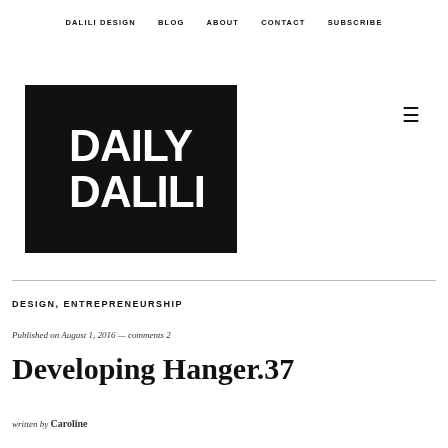DALILI DESIGN   BLOG   ABOUT   CONTACT   SUBSCRIBE
[Figure (logo): Daily Dalili logo: black square with white bold text reading DAILY DALILI]
DESIGN, ENTREPRENEURSHIP
Published on August 1, 2016 — comments 2
Developing Hanger.37
written by Caroline